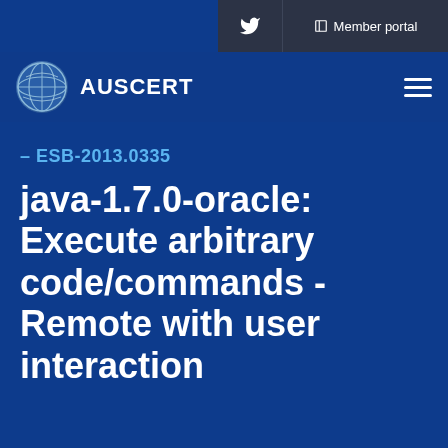Member portal
[Figure (logo): AUSCERT globe logo with text AUSCERT]
– ESB-2013.0335
java-1.7.0-oracle: Execute arbitrary code/commands - Remote with user interaction